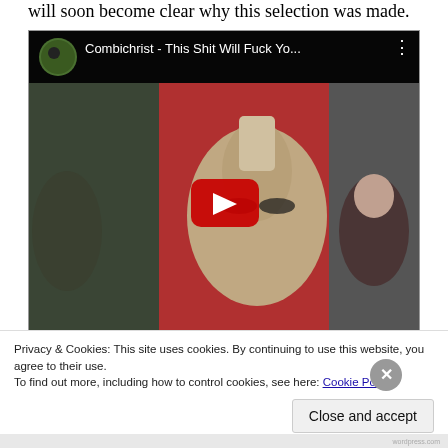will soon become clear why this selection was made.
[Figure (screenshot): YouTube video embed thumbnail showing Combichrist - This Shit Will Fuck Yo... with a play button overlay. The thumbnail shows a person with face paint and a mohawk hairstyle against a red background. Other figures visible in background.]
Privacy & Cookies: This site uses cookies. By continuing to use this website, you agree to their use.
To find out more, including how to control cookies, see here: Cookie Policy
Close and accept